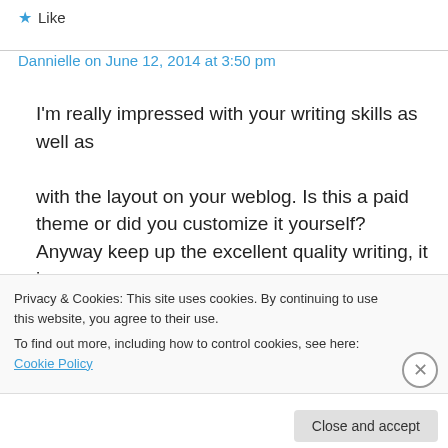★ Like
Dannielle on June 12, 2014 at 3:50 pm
I'm really impressed with your writing skills as well as with the layout on your weblog. Is this a paid theme or did you customize it yourself? Anyway keep up the excellent quality writing, it is rare to see a great blog like this one nowadays.
Privacy & Cookies: This site uses cookies. By continuing to use this website, you agree to their use. To find out more, including how to control cookies, see here: Cookie Policy
Close and accept